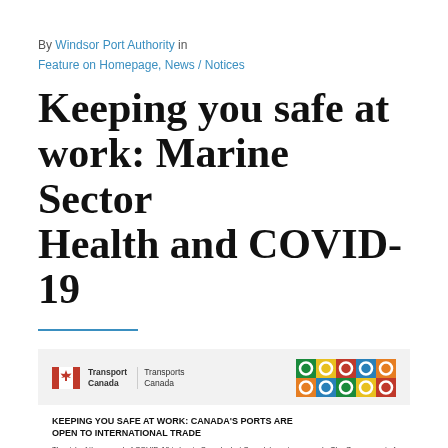By Windsor Port Authority in
Feature on Homepage, News / Notices
Keeping you safe at work: Marine Sector Health and COVID-19
[Figure (other): Transport Canada / Transporta Canada government document preview with decorative Indigenous pattern in top right corner. Document titled 'KEEPING YOU SAFE AT WORK: CANADA'S PORTS ARE OPEN TO INTERNATIONAL TRADE' with introductory paragraphs about COVID-19 risk and port safety measures.]
KEEPING YOU SAFE AT WORK: CANADA'S PORTS ARE OPEN TO INTERNATIONAL TRADE
The risk of the spread of COVID-19 is low in Canada, but Canada's ports are ready. The Government of Canada, port authorities, marine pilots, terminal operators and labour unions are working together to prevent the spread of the virus.
COVID-19 is usually spread through personal contact with droplets from sneezing and coughing. The risk